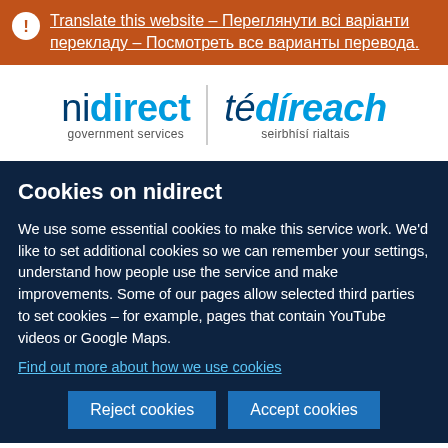Translate this website – Переглянути всі варіанти перекладу – Посмотреть все варианты перевода.
[Figure (logo): nidirect government services | té díreach seirbhísí rialtais bilingual logo]
Cookies on nidirect
We use some essential cookies to make this service work. We'd like to set additional cookies so we can remember your settings, understand how people use the service and make improvements. Some of our pages allow selected third parties to set cookies – for example, pages that contain YouTube videos or Google Maps.
Find out more about how we use cookies
Reject cookies
Accept cookies